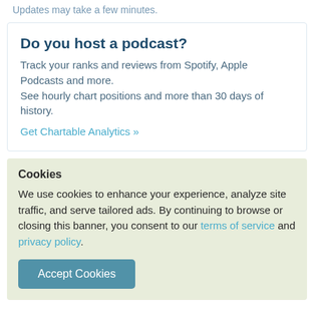Updates may take a few minutes.
Do you host a podcast?
Track your ranks and reviews from Spotify, Apple Podcasts and more. See hourly chart positions and more than 30 days of history.
Get Chartable Analytics »
Cookies
We use cookies to enhance your experience, analyze site traffic, and serve tailored ads. By continuing to browse or closing this banner, you consent to our terms of service and privacy policy.
Accept Cookies